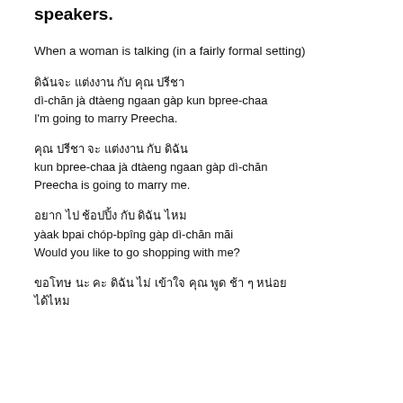speakers.
When a woman is talking (in a fairly formal setting)
ดิฉันจะ แต่งงาน กับ คุณ ปรีชา
dì-chăn jà dtàeng ngaan gàp kun bpree-chaa
I'm going to marry Preecha.
คุณ ปรีชา จะ แต่งงาน กับ ดิฉัน
kun bpree-chaa jà dtàeng ngaan gàp dì-chăn
Preecha is going to marry me.
อยาก ไป ช้อปปิ้ง กับ ดิฉัน ไหม
yàak bpai chóp-bpîng gàp dì-chăn mãi
Would you like to go shopping with me?
ขอโทษ นะ คะ ดิฉัน ไม่ เข้าใจ คุณ พูด ช้า ๆ หน่อย
ได้ไหม